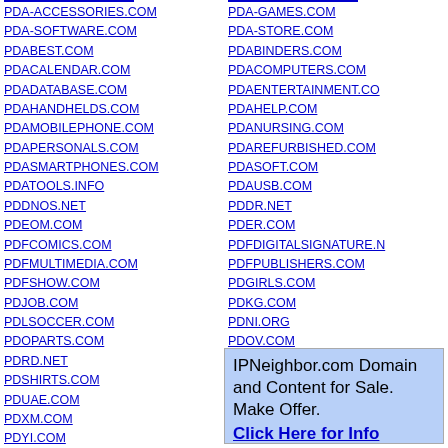PDA-ACCESSORIES.COM
PDA-SOFTWARE.COM
PDABEST.COM
PDACALENDAR.COM
PDADATABASE.COM
PDAHANDHELDS.COM
PDAMOBILEPHONE.COM
PDAPERSONALS.COM
PDASMARTPHONES.COM
PDATOOLS.INFO
PDDNOS.NET
PDEOM.COM
PDFCOMICS.COM
PDFMULTIMEDIA.COM
PDFSHOW.COM
PDJOB.COM
PDLSOCCER.COM
PDOPARTS.COM
PDRD.NET
PDSHIRTS.COM
PDUAE.COM
PDXM.COM
PDYI.COM
PDZZ.COM
PEABODY-MASSACHUSETTS.COM
PEACEACTIVIST.NET
PEACEADVOCATE.COM
PEACEBELL.COM
PDA-GAMES.COM
PDA-STORE.COM
PDABINDERS.COM
PDACOMPUTERS.COM
PDAENTERTAINMENT.CO
PDAHELP.COM
PDANURSING.COM
PDAREFURBISHED.COM
PDASOFT.COM
PDAUSB.COM
PDDR.NET
PDER.COM
PDFDIGITALSIGNATURE.N
PDFPUBLISHERS.COM
PDGIRLS.COM
PDKG.COM
PDNI.ORG
PDOV.COM
PDRHOSTING.COM
PDTK.COM
PDWIKI.COM
PDXMAP.COM
PDYT.COM
IPNeighbor.com Domain and Content for Sale. Make Offer. Click Here for Info